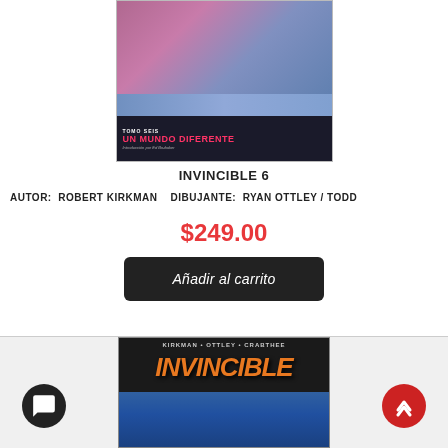[Figure (illustration): Comic book cover of Invincible 6 - Un Mundo Diferente. Shows superhero and alien figures with pink/blue color scheme. Band at bottom reads TOMO SEIS / UN MUNDO DIFERENTE / Introduccion por Ed Brubaker]
INVINCIBLE 6
AUTOR: ROBERT KIRKMAN   DIBUJANTE: RYAN OTTLEY / TODD
$249.00
Añadir al carrito
[Figure (illustration): Comic book cover showing INVINCIBLE title in large orange letters on dark background, with KIRKMAN • OTTLEY • CRABTHEE credits at top]